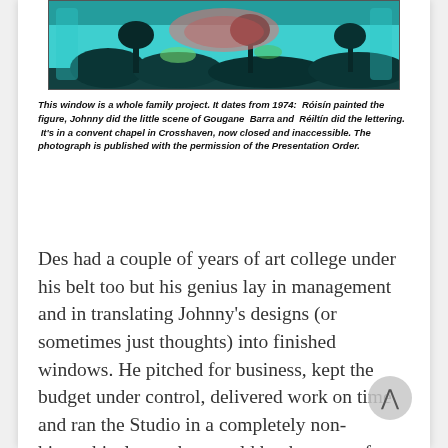[Figure (photo): Partial view of a stained glass window showing colourful painted scene with teal/cyan background, palm-like dark silhouettes, and decorative painted figures in pink and green tones.]
This window is a whole family project. It dates from 1974: Róisín painted the figure, Johnny did the little scene of Gougane Barra and Réiltín did the lettering. It's in a convent chapel in Crosshaven, now closed and inaccessible. The photograph is published with the permission of the Presentation Order.
Des had a couple of years of art college under his belt too but his genius lay in management and in translating Johnny's designs (or sometimes just thoughts) into finished windows. He pitched for business, kept the budget under control, delivered work on time and ran the Studio in a completely non-hierarchical way that would be the envy of many a modern management guru. All of them read voraciously, educated themselves in